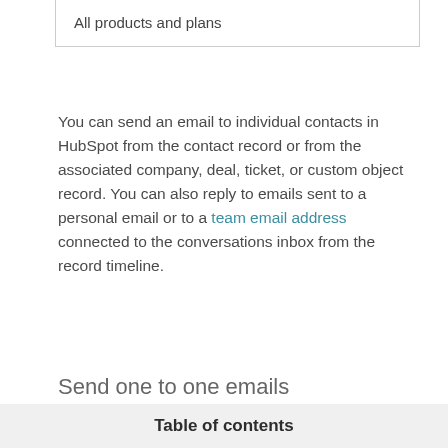All products and plans
You can send an email to individual contacts in HubSpot from the contact record or from the associated company, deal, ticket, or custom object record. You can also reply to emails sent to a personal email or to a team email address connected to the conversations inbox from the record timeline.
Please note: a connected inbox is required to send emails through the CRM. Learn how to connect your inbox.
Send one to one emails
Table of contents